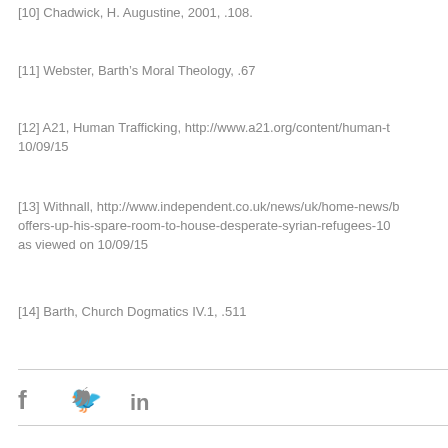[10] Chadwick, H. Augustine, 2001, .108.
[11] Webster, Barth's Moral Theology, .67
[12] A21, Human Trafficking, http://www.a21.org/content/human-t... 10/09/15
[13] Withnall, http://www.independent.co.uk/news/uk/home-news/... offers-up-his-spare-room-to-house-desperate-syrian-refugees-10... as viewed on 10/09/15
[14] Barth, Church Dogmatics IV.1, .511
[Figure (infographic): Social sharing icons: Facebook (f), Twitter (bird), LinkedIn (in)]